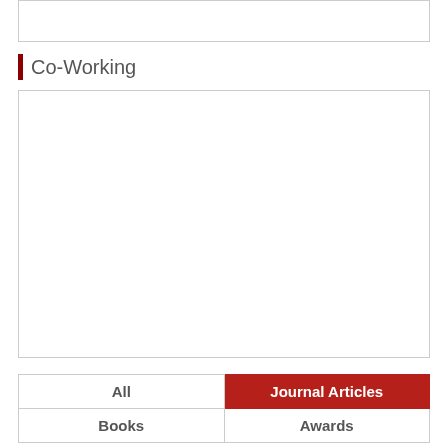[Figure (other): Empty white box at top of page with light gray border]
Co-Working
[Figure (other): Large empty white content area with light gray border]
| All | Journal Articles |
| Books | Awards |